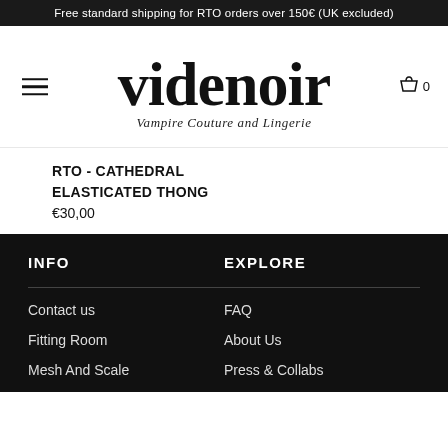Free standard shipping for RTO orders over 150€ (UK excluded)
[Figure (logo): Videnoir gothic blackletter logo with tagline 'Vampire Couture and Lingerie']
RTO - CATHEDRAL ELASTICATED THONG
€30,00
INFO
Contact us
Fitting Room
Mesh And Scale
EXPLORE
FAQ
About Us
Press & Collabs